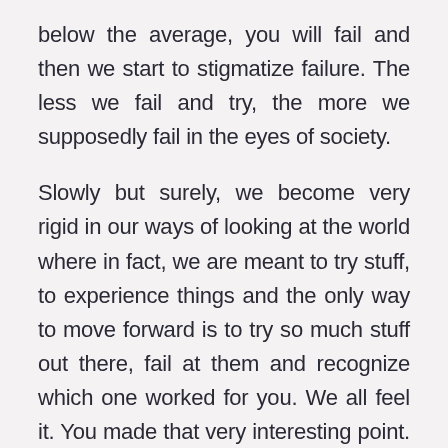below the average, you will fail and then we start to stigmatize failure. The less we fail and try, the more we supposedly fail in the eyes of society.

Slowly but surely, we become very rigid in our ways of looking at the world where in fact, we are meant to try stuff, to experience things and the only way to move forward is to try so much stuff out there, fail at them and recognize which one worked for you. We all feel it. You made that very interesting point. We have it from day one, from our birth. The very fact that you